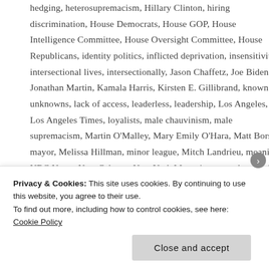hedging, heterosupremacism, Hillary Clinton, hiring discrimination, House Democrats, House GOP, House Intelligence Committee, House Oversight Committee, House Republicans, identity politics, inflicted deprivation, insensitivity, intersectional lives, intersectionally, Jason Chaffetz, Joe Biden, Jonathan Martin, Kamala Harris, Kirsten E. Gillibrand, known unknowns, lack of access, leaderless, leadership, Los Angeles, Los Angeles Times, loyalists, male chauvinism, male supremacism, Martin O'Malley, Mary Emily O'Hara, Matt Bors, mayor, Melissa Hillman, minor league, Mitch Landrieu, moaning, NBC News, New Orleans, New York Magazine, overplay, pitch, police violence, poverty, progressive, progressive politics, Rebeecca Traister, rehash, relegate, reproductive health care, reproductive rights, reserve, Russa investigation, Russia scandal, sacrificing, Salon, secondary identity politic, Senate Democrats,
Privacy & Cookies: This site uses cookies. By continuing to use this website, you agree to their use. To find out more, including how to control cookies, see here: Cookie Policy
Close and accept